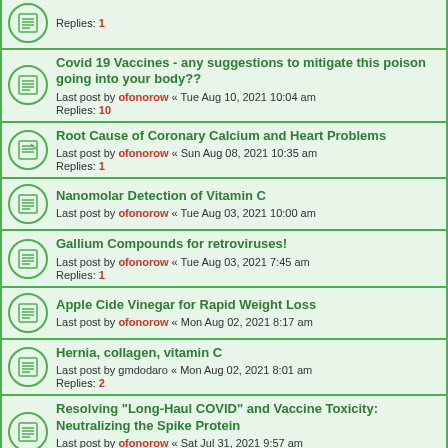Replies: 1
Covid 19 Vaccines - any suggestions to mitigate this poison going into your body??
Last post by ofonorow « Tue Aug 10, 2021 10:04 am
Replies: 10
Root Cause of Coronary Calcium and Heart Problems
Last post by ofonorow « Sun Aug 08, 2021 10:35 am
Replies: 1
Nanomolar Detection of Vitamin C
Last post by ofonorow « Tue Aug 03, 2021 10:00 am
Gallium Compounds for retroviruses!
Last post by ofonorow « Tue Aug 03, 2021 7:45 am
Replies: 1
Apple Cide Vinegar for Rapid Weight Loss
Last post by ofonorow « Mon Aug 02, 2021 8:17 am
Hernia, collagen, vitamin C
Last post by gmdodaro « Mon Aug 02, 2021 8:01 am
Replies: 2
Resolving "Long-Haul COVID" and Vaccine Toxicity: Neutralizing the Spike Protein
Last post by ofonorow « Sat Jul 31, 2021 9:57 am
Replies: 6
Circulating vitamin C concentration and risk of cancers: a Mendelian randomization study
Last post by ofonorow « Sat Jul 31, 2021 9:54 am
Vitamin C,E supplementation improves some symptoms in endometriosis patients
Last post by ofonorow « Sat Jul 31, 2021 9:51 am